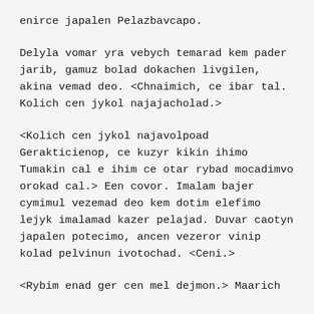enirce japalen Pelazbavcapo.
Delyla vomar yra vebych temarad kem pader jarib, gamuz bolad dokachen livgilen, akina vemad deo. <Chnaimich, ce ibar tal. Kolich cen jykol najajacholad.>
<Kolich cen jykol najavolpoad Gerakticienop, ce kuzyr kikin ihimo Tumakin cal e ihim ce otar rybad mocadimvo orokad cal.> Een covor. Imalam bajer cymimul vezemad deo kem dotim elefimo lejyk imalamad kazer pelajad. Duvar caotyn japalen potecimo, ancen vezeror vinip kolad pelvinun ivotochad. <Ceni.>
<Rybim enad ger cen mel dejmon.> Maarich